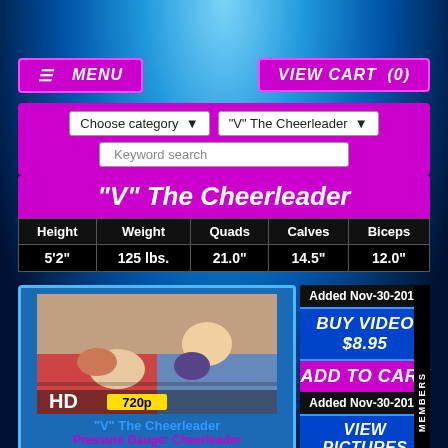MENU | VIEW CART (0)
Choose category | "V" The Cheerleader | Keyword search
"V" The Cheerleader
| Height | Weight | Quads | Calves | Biceps |
| --- | --- | --- | --- | --- |
| 5'2" | 125 lbs. | 21.0" | 14.5" | 12.0" |
[Figure (photo): Two women wrestling on a mat, HD 720p badge]
"V" The Cheerleader
Pressure Gauge: Cheerleader
Added Nov-30-2010
BUY VIDEO $8.95
ADD TO CART
Added Nov-30-2010
VIEW PICTURES
Expired
VIEW CLIP
MEMBERS